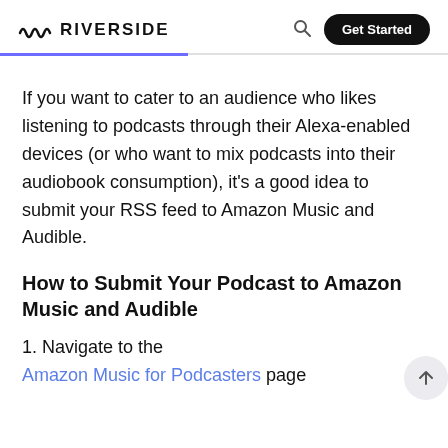RIVERSIDE
If you want to cater to an audience who likes listening to podcasts through their Alexa-enabled devices (or who want to mix podcasts into their audiobook consumption), it's a good idea to submit your RSS feed to Amazon Music and Audible.
How to Submit Your Podcast to Amazon Music and Audible
1. Navigate to the Amazon Music for Podcasters page